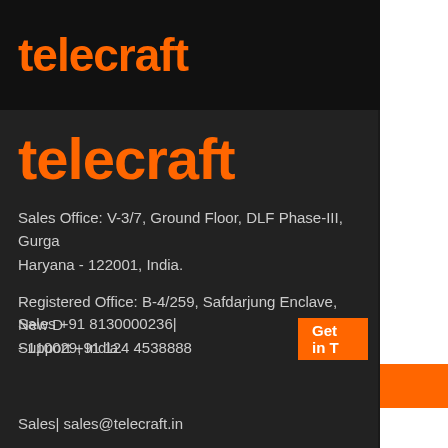telecraft
[Figure (logo): Telecraft logo large in orange on dark background]
Sales Office: V-3/7, Ground Floor, DLF Phase-III, Gurgaon, Haryana - 122001, India.
Registered Office: B-4/259, Safdarjung Enclave, New Delhi - 110029, India.
Sales +91 8130000236|
Support +91 124 4538888
Sales| sales@telecraft.in